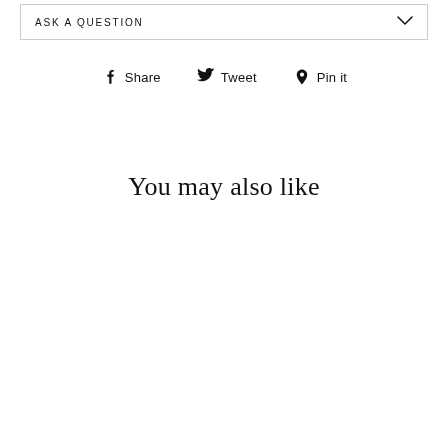ASK A QUESTION
Share  Tweet  Pin it
You may also like